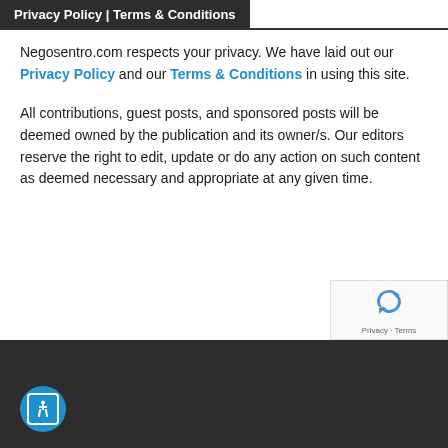Privacy Policy | Terms & Conditions
Negosentro.com respects your privacy. We have laid out our Privacy Policy and our Terms & Conditions in using this site.
All contributions, guest posts, and sponsored posts will be deemed owned by the publication and its owner/s. Our editors reserve the right to edit, update or do any action on such content as deemed necessary and appropriate at any given time.
[Figure (logo): reCAPTCHA logo with Privacy and Terms links]
[Figure (illustration): Accessibility icon button (blue circle with wheelchair symbol)]